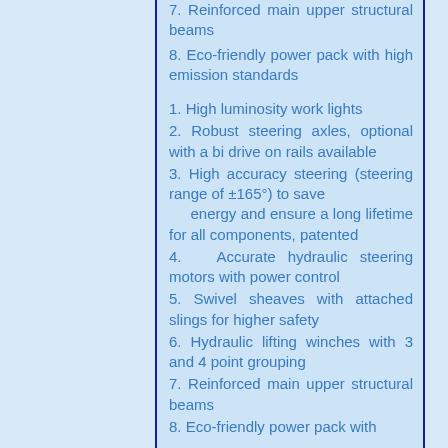7. Reinforced main upper structural beams
8. Eco-friendly power pack with high emission standards
1. High luminosity work lights
2. Robust steering axles, optional with a bi drive on rails available
3. High accuracy steering (steering range of ±165°) to save energy and ensure a long lifetime for all components, patented
4. Accurate hydraulic steering motors with power control
5. Swivel sheaves with attached slings for higher safety
6. Hydraulic lifting winches with 3 and 4 point grouping
7. Reinforced main upper structural beams
8. Eco-friendly power pack with